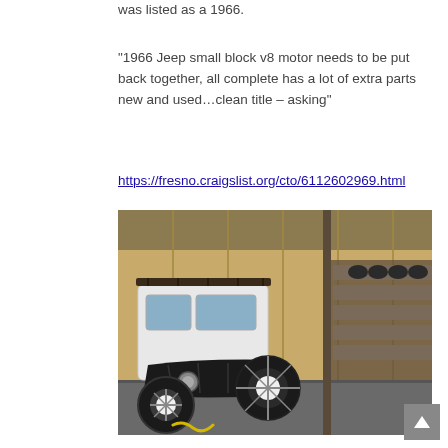was listed as a 1966.
“1966 Jeep small block v8 motor needs to be put back together, all complete has a lot of extra parts new and used…clean title – asking”
https://fresno.craigslist.org/cto/6112602969.html
[Figure (photo): A 1966 Jeep with a white upper body and black front end, parked in front of a metal building. The vehicle has large tires and a roof rack, with various parts and shelving visible in the background.]